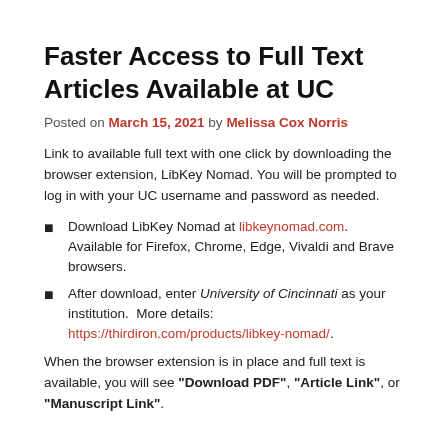Faster Access to Full Text Articles Available at UC
Posted on March 15, 2021 by Melissa Cox Norris
Link to available full text with one click by downloading the browser extension, LibKey Nomad. You will be prompted to log in with your UC username and password as needed.
Download LibKey Nomad at libkeynomad.com.  Available for Firefox, Chrome, Edge, Vivaldi and Brave browsers.
After download, enter University of Cincinnati as your institution.  More details: https://thirdiron.com/products/libkey-nomad/.
When the browser extension is in place and full text is available, you will see "Download PDF", "Article Link", or "Manuscript Link".